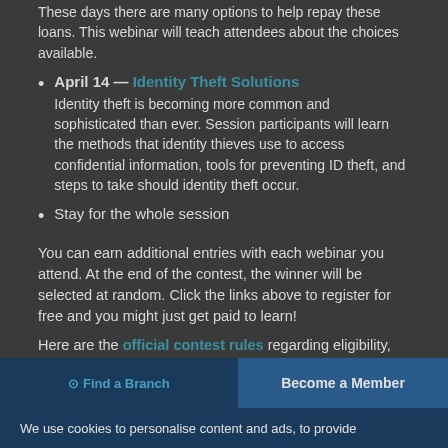These days there are many options to help repay these loans. This webinar will teach attendees about the choices available.
April 14 — Identity Theft Solutions
Identity theft is becoming more common and sophisticated than ever. Session participants will learn the methods that identity thieves use to access confidential information, tools for preventing ID theft, and steps to take should identity theft occur.
Stay for the whole session
You can earn additional entries with each webinar you attend. At the end of the contest, the winner will be selected at random. Click the links above to register for free and you might just get paid to learn!
Here are the official contest rules regarding eligibility, how to enter, and general rules.
Find a Branch    Become a Member
We use cookies to personalise content and ads, to provide